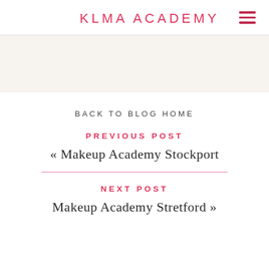KLMA ACADEMY
BACK TO BLOG HOME
PREVIOUS POST
« Makeup Academy Stockport
NEXT POST
Makeup Academy Stretford »